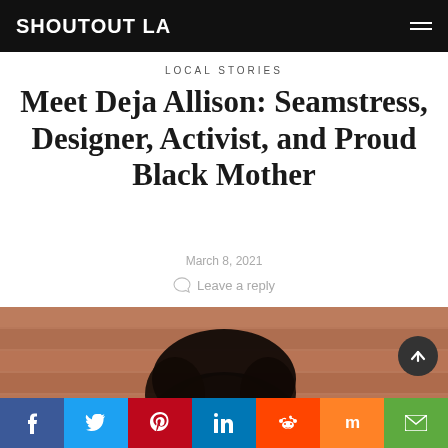SHOUTOUT LA
LOCAL STORIES
Meet Deja Allison: Seamstress, Designer, Activist, and Proud Black Mother
March 8, 2021
Leave a reply
[Figure (photo): Portrait of Deja Allison, a Black woman with natural hair, photographed in front of a brick wall. Only the upper portion of her face is visible.]
Social share buttons: Facebook, Twitter, Pinterest, LinkedIn, Reddit, Mix, Email